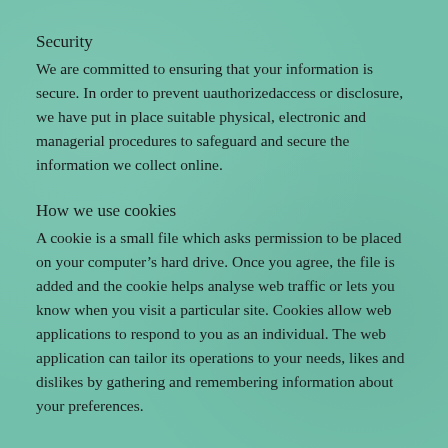Security
We are committed to ensuring that your information is secure. In order to prevent uauthorizedaccess or disclosure, we have put in place suitable physical, electronic and managerial procedures to safeguard and secure the information we collect online.
How we use cookies
A cookie is a small file which asks permission to be placed on your computer’s hard drive. Once you agree, the file is added and the cookie helps analyse web traffic or lets you know when you visit a particular site. Cookies allow web applications to respond to you as an individual. The web application can tailor its operations to your needs, likes and dislikes by gathering and remembering information about your preferences.